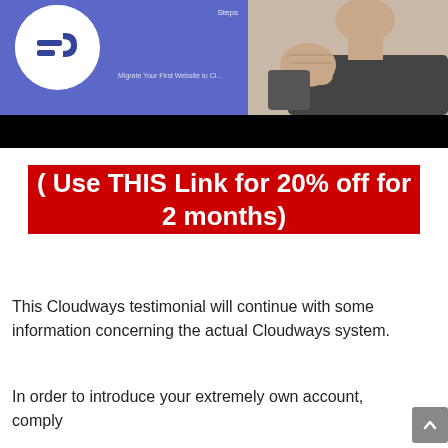[Figure (photo): Screenshot of a video thumbnail showing a blue background with a white circle containing a logo/icon on the left, a man with a raised fist on the right, and text overlays including 'Steps' and 'Migrate Your First Website to Cl...'. Below is a black bar.]
( Use THIS Link for 20% off for 2 months)
This Cloudways testimonial will continue with some information concerning the actual Cloudways system.
In order to introduce your extremely own account, comply